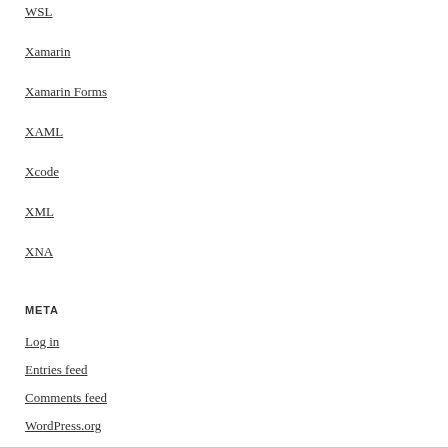WSL
Xamarin
Xamarin Forms
XAML
Xcode
XML
XNA
META
Log in
Entries feed
Comments feed
WordPress.org